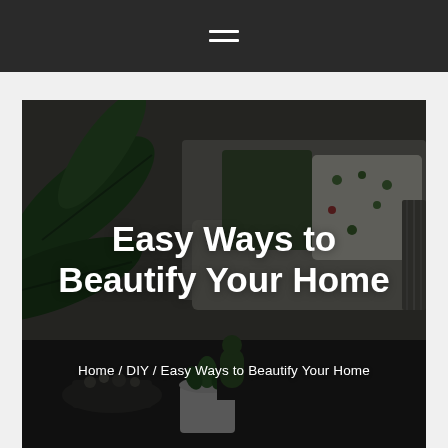☰
[Figure (photo): Interior living room scene with large green tropical leaves on the left, a sofa with cactus-patterned decorative pillow and green cushion in the background, and small potted succulent plants on a dark surface in the foreground. The scene is dimly lit with a dark overlay.]
Easy Ways to Beautify Your Home
Home / DIY / Easy Ways to Beautify Your Home